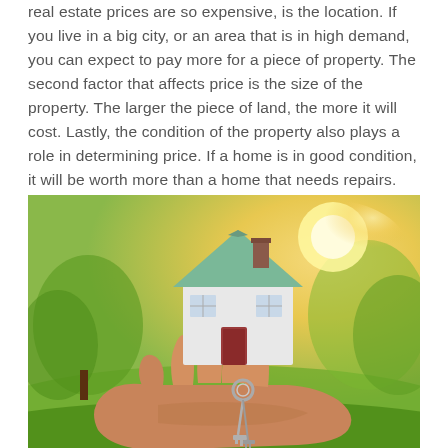real estate prices are so expensive, is the location. If you live in a big city, or an area that is in high demand, you can expect to pay more for a piece of property. The second factor that affects price is the size of the property. The larger the piece of land, the more it will cost. Lastly, the condition of the property also plays a role in determining price. If a home is in good condition, it will be worth more than a home that needs repairs.
[Figure (photo): A hand holding a small model house with a green roof and keys dangling below it, against a blurred outdoor background with warm golden sunlight and green trees.]